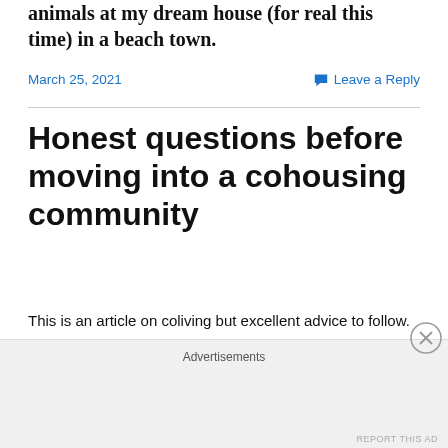animals at my dream house (for real this time) in a beach town.
March 25, 2021
Leave a Reply
Honest questions before moving into a cohousing community
This is an article on coliving but excellent advice to follow.
https://www.thecollective.com/7-questions-to-ask-before-you-try-co-living
Advertisements